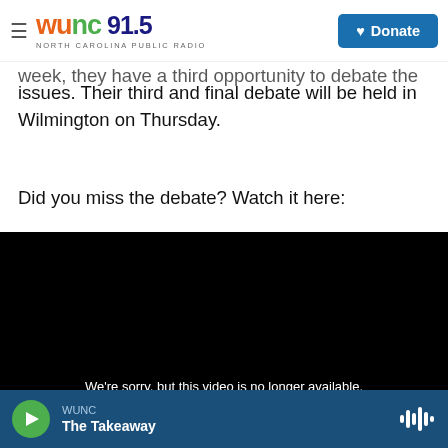WUNC 91.5 North Carolina Public Radio | Donate
week, they have a third opportunity to debate the issues. Their third and final debate will be held in Wilmington on Thursday.
Did you miss the debate? Watch it here:
[Figure (screenshot): Embedded video player showing a black screen with the message: We're sorry, but this video is no longer available.]
WUNC | The Takeaway